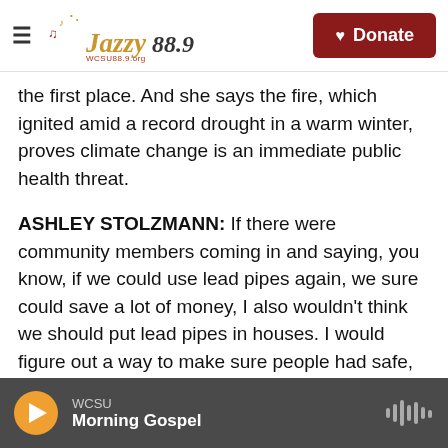Jazzy 88.9 WCSU — Donate
the first place. And she says the fire, which ignited amid a record drought in a warm winter, proves climate change is an immediate public health threat.
ASHLEY STOLZMANN: If there were community members coming in and saying, you know, if we could use lead pipes again, we sure could save a lot of money, I also wouldn't think we should put lead pipes in houses. I would figure out a way to make sure people had safe, clean drinking water.
BRASCH: That said, Stolzmann doesn't think fire
WCSU — Morning Gospel